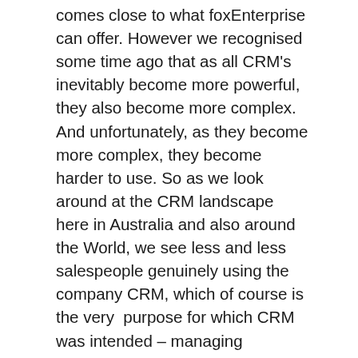comes close to what foxEnterprise can offer. However we recognised some time ago that as all CRM's inevitably become more powerful, they also become more complex. And unfortunately, as they become more complex, they become harder to use. So as we look around at the CRM landscape here in Australia and also around the World, we see less and less salespeople genuinely using the company CRM, which of course is the very  purpose for which CRM was intended – managing prospects and customers to increase sales and improve customer service.
So how do you address this? SalesCRM....built for Salespeople. Not CEO's, CFO's, Contract Administrators, Marketing Managers, Customer Service Departments and so on (foxEnterprise gives these users everything and more that they need).